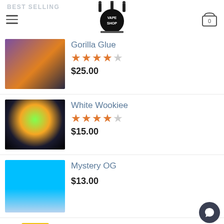BEST SELLING — VAPE SHOP logo — Cart (0)
Gorilla Glue — 4.5 stars — $25.00
White Wookiee — 4 stars — $15.00
Mystery OG — $13.00
NY Sour Diesel — $13.00
FEATURED